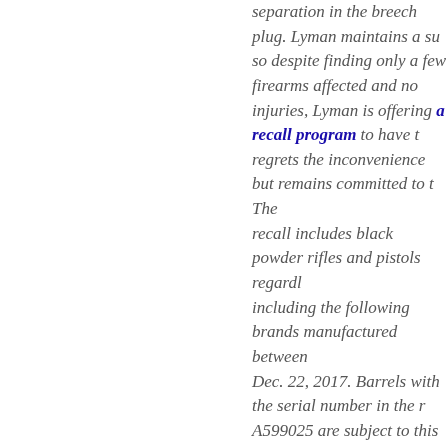separation in the breech plug. Lyman maintains a so despite finding only a few firearms affected and no injuries, Lyman is offering a recall program to have regrets the inconvenience but remains committed to The recall includes black powder rifles and pistols regardl including the following brands manufactured between Dec. 22, 2017. Barrels with the serial number in the r A599025 are subject to this recall:
Deerstalker
Great Plains
Great Plains Hunter
Trade Rifle
Plains Pistol
Black Powder Kits and replacement barrels
This recall excludes Percussion Left-Hand Great Plains ar Plains Hunter models. If a customer finds his/her pro the recall range, a customer service representative is